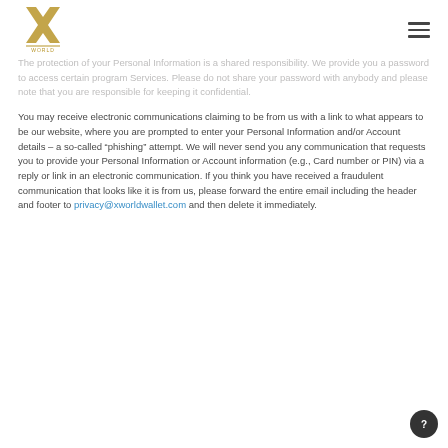X World logo and navigation menu
The protection of your Personal Information is a shared responsibility. We provide you a password to access certain program Services. Please do not share your password with anybody and please note that you are responsible for keeping it confidential.
You may receive electronic communications claiming to be from us with a link to what appears to be our website, where you are prompted to enter your Personal Information and/or Account details – a so-called “phishing” attempt. We will never send you any communication that requests you to provide your Personal Information or Account information (e.g., Card number or PIN) via a reply or link in an electronic communication. If you think you have received a fraudulent communication that looks like it is from us, please forward the entire email including the header and footer to privacy@xworldwallet.com and then delete it immediately.